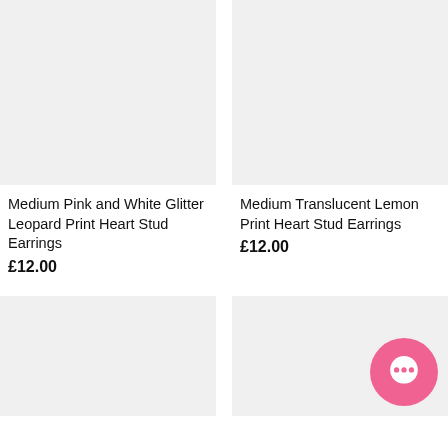[Figure (photo): Product image placeholder - light grey rectangle for Medium Pink and White Glitter Leopard Print Heart Stud Earrings]
Medium Pink and White Glitter Leopard Print Heart Stud Earrings
£12.00
[Figure (photo): Product image placeholder - light grey rectangle for Medium Translucent Lemon Print Heart Stud Earrings]
Medium Translucent Lemon Print Heart Stud Earrings
£12.00
[Figure (photo): Product image placeholder - light grey rectangle, bottom left product]
[Figure (photo): Product image placeholder - light grey rectangle, bottom right product with pink chat bubble icon overlay]